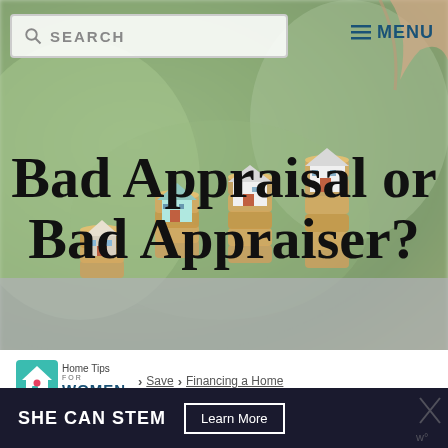[Figure (photo): Hero image showing stacks of coins with small house figurines on top, increasing in height from left to right, with a blurred green background and a hand placing a house model on the tallest stack. Search bar and menu overlay in top corners.]
Bad Appraisal or Bad Appraiser?
Home Tips FOR WOMEN > Save > Financing a Home
Content may contain referral links. Read our disclosure policy for more information.
[Figure (infographic): Bottom dark banner advertisement: SHE CAN STEM with Learn More button]